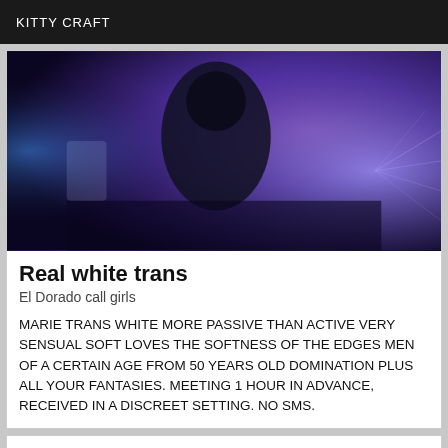KITTY CRAFT
[Figure (photo): A person in dark clothing photographed under purple/blue stage lighting with light rays visible in the background]
Real white trans
El Dorado call girls
MARIE TRANS WHITE MORE PASSIVE THAN ACTIVE VERY SENSUAL SOFT LOVES THE SOFTNESS OF THE EDGES MEN OF A CERTAIN AGE FROM 50 YEARS OLD DOMINATION PLUS ALL YOUR FANTASIES. MEETING 1 HOUR IN ADVANCE, RECEIVED IN A DISCREET SETTING. NO SMS.